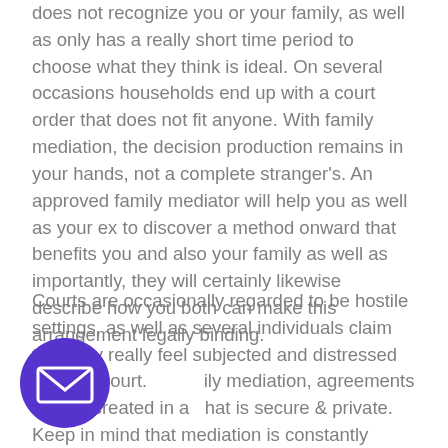does not recognize you or your family, as well as only has a really short time period to choose what they think is ideal. On several occasions households end up with a court order that does not fit anyone. With family mediation, the decision production remains in your hands, not a complete stranger's. An approved family mediator will help you as well as your ex to discover a method onward that benefits you and also your family as well as importantly, they will certainly likewise describe how you both can make this arrangement legally binding.
Courts are occasionally regarded to be hostile settings, as well as several individuals claim that they really feel subjected and distressed when in court. Family mediation, agreements can be created in a way that is secure & private. Keep in mind that mediation is constantly private– what is claimed in the
[Figure (other): Purple circular email contact button with envelope icon]